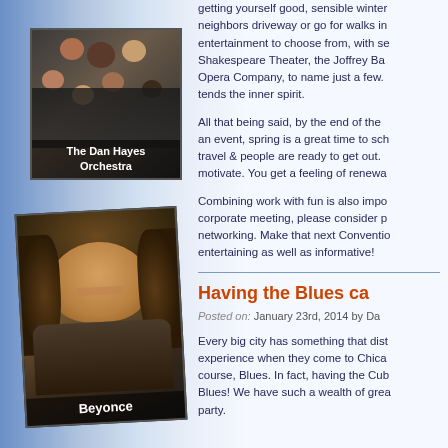[Figure (photo): Group photo of The Dan Hayes Orchestra - several people in formal attire]
The Dan Hayes Orchestra
[Figure (photo): Portrait photo of Beyonce]
Beyonce
getting yourself good, sensible winter neighbors driveway or go for walks in entertainment to choose from, with se Shakespeare Theater, the Joffrey Ba Opera Company, to name just a few. tends the inner spirit.
All that being said, by the end of the an event, spring is a great time to sch travel & people are ready to get out. motivate. You get a feeling of renewa
Combining work with fun is also impo corporate meeting, please consider p networking. Make that next Conventio entertaining as well as informative!
Having the Blues ca
Posted on: January 23rd, 2014 by Da
Every big city has something that dist experience when they come to Chica course, Blues. In fact, having the Cub Blues! We have such a wealth of grea party.